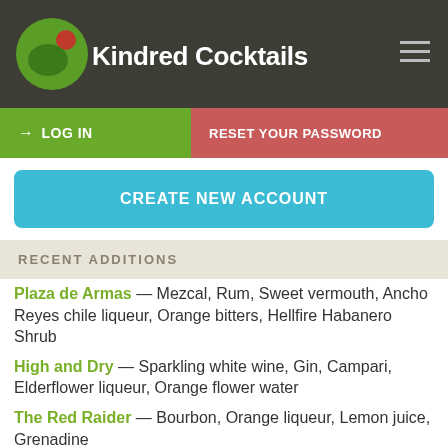Kindred Cocktails
LOG IN
RESET YOUR PASSWORD
CREATE NEW ACCOUNT
RECENT ADDITIONS
Plaza de Armas — Mezcal, Rum, Sweet vermouth, Ancho Reyes chile liqueur, Orange bitters, Hellfire Habanero Shrub
High and Dry — Sparkling white wine, Gin, Campari, Elderflower liqueur, Orange flower water
The Red Raider — Bourbon, Orange liqueur, Lemon juice, Grenadine
Butch's Place — Gin, Cynar, Elderflower liqueur, Ginger liqueur, Cranberry bitters